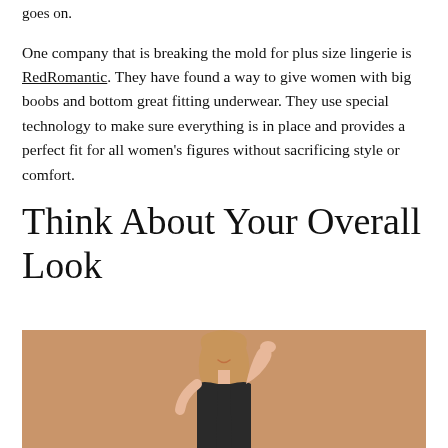goes on.
One company that is breaking the mold for plus size lingerie is RedRomantic. They have found a way to give women with big boobs and bottom great fitting underwear. They use special technology to make sure everything is in place and provides a perfect fit for all women's figures without sacrificing style or comfort.
Think About Your Overall Look
[Figure (photo): A woman with long hair posing against a warm tan/beige background, wearing dark lingerie, smiling with her hand raised to her head.]